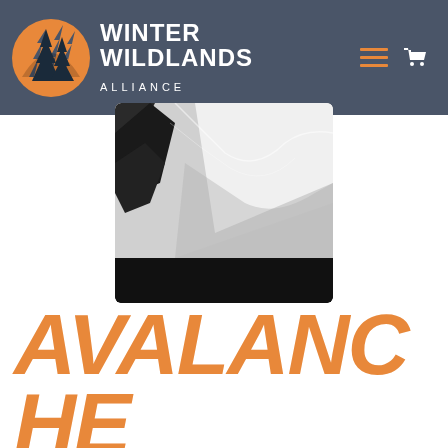Winter Wildlands Alliance
[Figure (photo): Black and white photo of a snow-covered mountain slope with dark trees on the left side. The lower portion of the image is black/dark.]
AVALANCHE INSIGHT